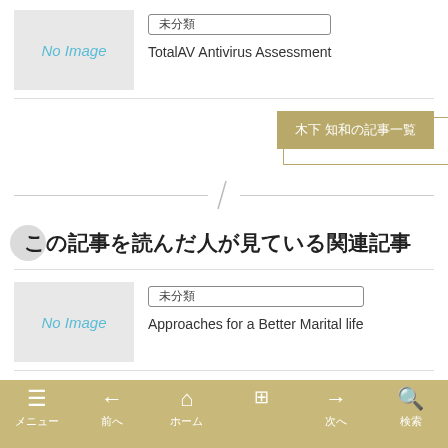[Figure (other): No Image placeholder box (light gray) for article]
未分類
TotalAV Antivirus Assessment
木下 知和の記事一覧
この記事を読んだ人が見ている関連記事
[Figure (other): No Image placeholder box (light gray) for second article]
未分類
Approaches for a Better Marital life
メニュー　前へ　ホーム　(tab)　次へ　検索